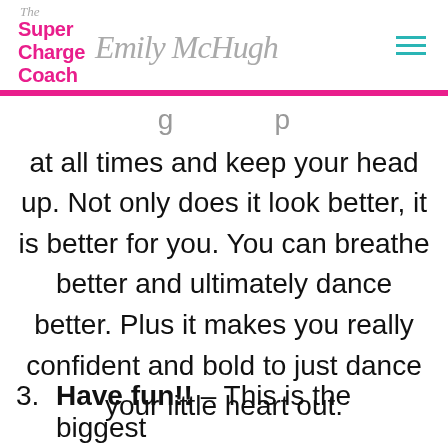The Super Charge Coach Emily McHugh
at all times and keep your head up. Not only does it look better, it is better for you. You can breathe better and ultimately dance better. Plus it makes you really confident and bold to just dance your little heart out.
3. Have fun!! – This is the biggest